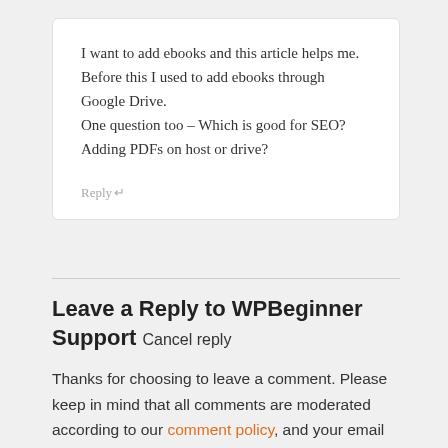I want to add ebooks and this article helps me. Before this I used to add ebooks through Google Drive.
One question too – Which is good for SEO? Adding PDFs on host or drive?
Reply
Leave a Reply to WPBeginner Support Cancel reply
Thanks for choosing to leave a comment. Please keep in mind that all comments are moderated according to our comment policy, and your email